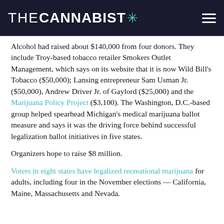THECANNABIST *
Alcohol had raised about $140,000 from four donors. They include Troy-based tobacco retailer Smokers Outlet Management, which says on its website that it is now Wild Bill's Tobacco ($50,000); Lansing entrepreneur Sam Usman Jr. ($50,000), Andrew Driver Jr. of Gaylord ($25,000) and the Marijuana Policy Project ($3,100). The Washington, D.C.-based group helped spearhead Michigan's medical marijuana ballot measure and says it was the driving force behind successful legalization ballot initiatives in five states.
Organizers hope to raise $8 million.
Voters in eight states have legalized recreational marijuana for adults, including four in the November elections — California, Maine, Massachusetts and Nevada.